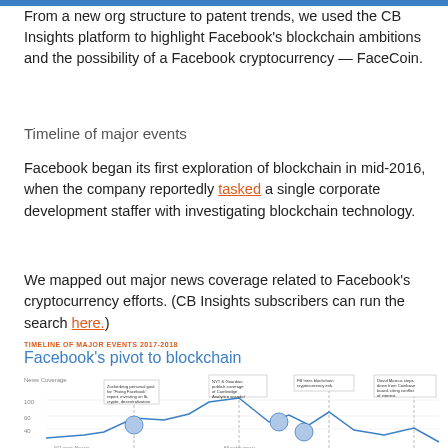From a new org structure to patent trends, we used the CB Insights platform to highlight Facebook's blockchain ambitions and the possibility of a Facebook cryptocurrency — FaceCoin.
Timeline of major events
Facebook began its first exploration of blockchain in mid-2016, when the company reportedly tasked a single corporate development staffer with investigating blockchain technology.
We mapped out major news coverage related to Facebook's cryptocurrency efforts. (CB Insights subscribers can run the search here.)
[Figure (infographic): Timeline chart titled 'Facebook's pivot to blockchain' showing TIMELINE OF MAJOR EVENTS 2017-2018. A line chart of News Coverage with y-axis values around 40-100, with annotated events, portraits of Facebook figures, and dashed vertical lines marking major events.]